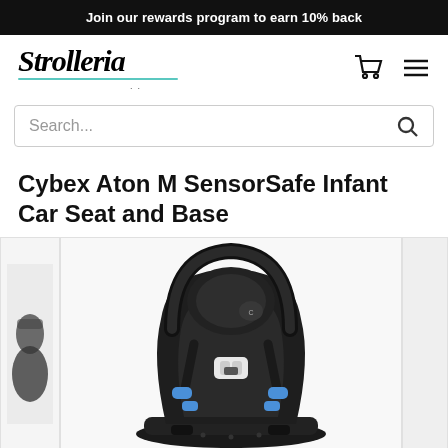Join our rewards program to earn 10% back
[Figure (logo): Strolleria brand logo in italic script font with teal/green underline decoration]
Search...
Cybex Aton M SensorSafe Infant Car Seat and Base
[Figure (photo): Cybex Aton M SensorSafe infant car seat in black with blue harness clips and white chest clip, shown on white background]